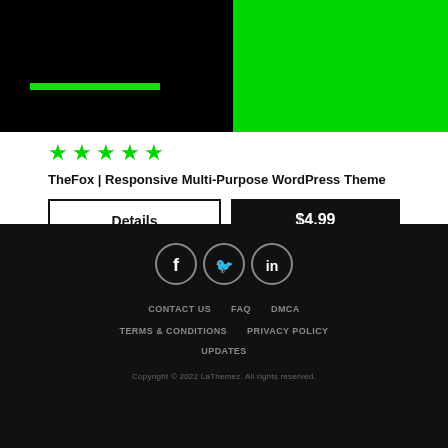[Figure (screenshot): Product card showing a WordPress theme preview with black and green background image sections]
★★★★★
TheFox | Responsive Multi-Purpose WordPress Theme
Details
$4.99
[Figure (illustration): Social media icons: Facebook, Twitter, LinkedIn in grey circle borders]
CONTACT US
FAQ
DMCA
TERMS & CONDITIONS
PRIVACY POLICY
UPDATES
Copyright © 2022 LaThemez. All rights reserved.